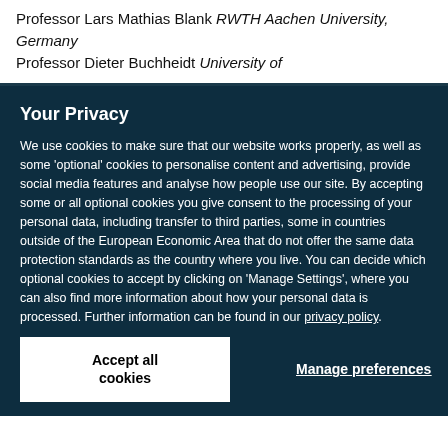Professor Lars Mathias Blank RWTH Aachen University, Germany Professor Dieter Buchheidt University of
Your Privacy
We use cookies to make sure that our website works properly, as well as some 'optional' cookies to personalise content and advertising, provide social media features and analyse how people use our site. By accepting some or all optional cookies you give consent to the processing of your personal data, including transfer to third parties, some in countries outside of the European Economic Area that do not offer the same data protection standards as the country where you live. You can decide which optional cookies to accept by clicking on 'Manage Settings', where you can also find more information about how your personal data is processed. Further information can be found in our privacy policy.
Accept all cookies
Manage preferences